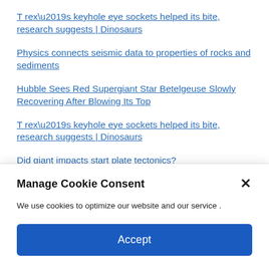T rex's keyhole eye sockets helped its bite, research suggests | Dinosaurs
Physics connects seismic data to properties of rocks and sediments
Hubble Sees Red Supergiant Star Betelgeuse Slowly Recovering After Blowing Its Top
T rex's keyhole eye sockets helped its bite, research suggests | Dinosaurs
Did giant impacts start plate tectonics?
Manage Cookie Consent
We use cookies to optimize our website and our service .
Accept